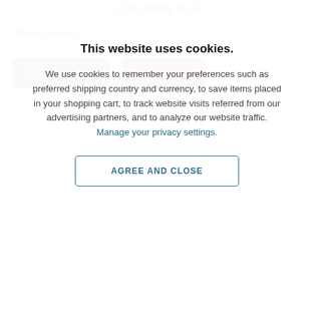£12.50 shipping to USA
Show Details
[Figure (other): Add to Cart and Buy Now buttons]
A Short History of English Poetry
This website uses cookies.
We use cookies to remember your preferences such as preferred shipping country and currency, to save items placed in your shopping cart, to track website visits referred from our advertising partners, and to analyze our website traffic. Manage your privacy settings.
AGREE AND CLOSE